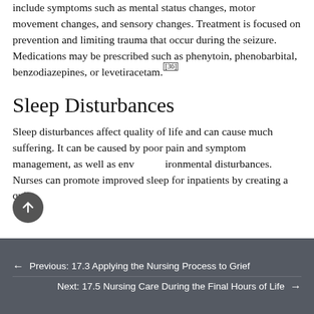include symptoms such as mental status changes, motor movement changes, and sensory changes. Treatment is focused on prevention and limiting trauma that occur during the seizure. Medications may be prescribed such as phenytoin, phenobarbital, benzodiazepines, or levetiracetam.[36]
Sleep Disturbances
Sleep disturbances affect quality of life and can cause much suffering. It can be caused by poor pain and symptom management, as well as environmental disturbances. Nurses can promote improved sleep for inpatients by creating a quiet,
← Previous: 17.3 Applying the Nursing Process to Grief
Next: 17.5 Nursing Care During the Final Hours of Life →